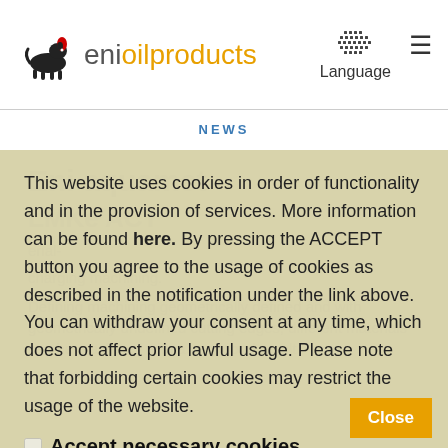eni oil products — Language
NEWS
Eni aquamet
LMKe ACT
This website uses cookies in order of functionality and in the provision of services. More information can be found here. By pressing the ACCEPT button you agree to the usage of cookies as described in the notification under the link above. You can withdraw your consent at any time, which does not affect prior lawful usage. Please note that forbidding certain cookies may restrict the usage of the website.
Accept necessary cookies